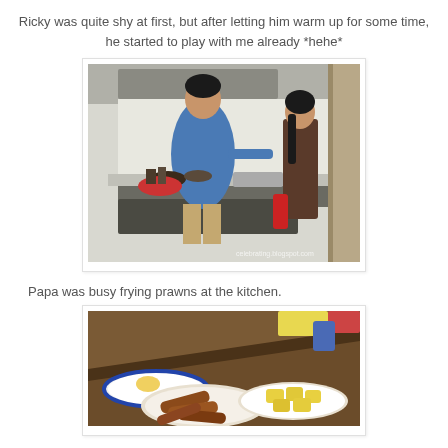Ricky was quite shy at first, but after letting him warm up for some time, he started to play with me already *hehe*
[Figure (photo): A man in a blue shirt cooking at a kitchen stove, with a woman in a plaid dress standing nearby in a Japanese apartment kitchen.]
Papa was busy frying prawns at the kitchen.
[Figure (photo): A table with plates of fried prawns and cut fruit (likely pineapple or melon), with a blue and white decorative plate visible.]